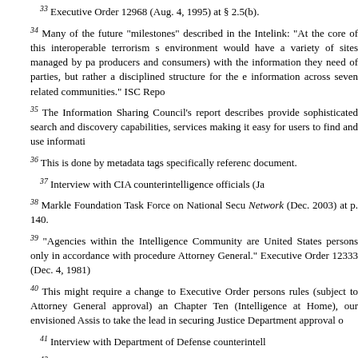33 Executive Order 12968 (Aug. 4, 1995) at § 2.5(b).
34 Many of the future "milestones" described in the Intelink: "At the core of this interoperable terrorism s environment would have a variety of sites managed by pa producers and consumers) with the information they need of parties, but rather a disciplined structure for the e information across seven related communities." ISC Repo
35 The Information Sharing Council's report describes provide sophisticated search and discovery capabilities, services making it easy for users to find and use informati
36 This is done by metadata tags specifically referenc document.
37 Interview with CIA counterintelligence officials (Ja
38 Markle Foundation Task Force on National Secu Network (Dec. 2003) at p. 140.
39 "Agencies within the Intelligence Community are United States persons only in accordance with procedure Attorney General." Executive Order 12333 (Dec. 4, 1981)
40 This might require a change to Executive Order persons rules (subject to Attorney General approval) an Chapter Ten (Intelligence at Home), our envisioned Assis to take the lead in securing Justice Department approval o
41 Interview with Department of Defense counterintell
42 Chapter Four (Terrorism).
43 The program managers of Special Access Progra program.